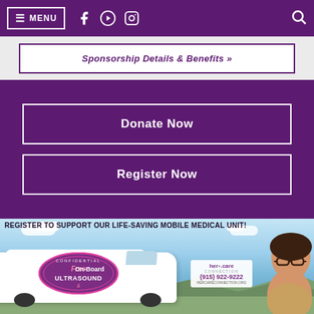≡ MENU [Facebook] [YouTube] [Instagram] [Search]
Sponsorship Details & Benefits »
Donate Now
Register Now
[Figure (photo): A white mobile medical unit van with an oval badge reading 'CONFIDENTIAL Free On-Board ULTRASOUND' and her.care connection branding with phone number (915) 922-9222, set against a blue sky with desert mountains. A woman wearing glasses is visible on the right side. Text overlay reads 'REGISTER TO SUPPORT OUR LIFE-SAVING MOBILE MEDICAL UNIT!']